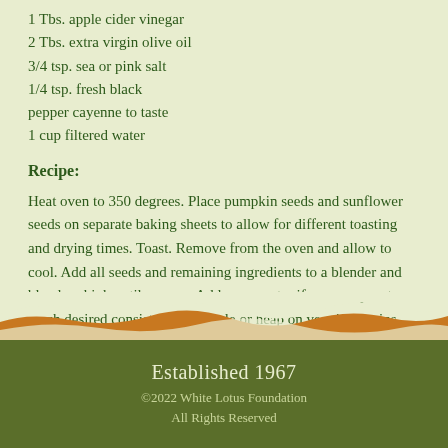1 Tbs. apple cider vinegar
2 Tbs. extra virgin olive oil
3/4 tsp. sea or pink salt
1/4 tsp. fresh black pepper cayenne to taste
1 cup filtered water
Recipe:
Heat oven to 350 degrees. Place pumpkin seeds and sunflower seeds on separate baking sheets to allow for different toasting and drying times. Toast. Remove from the oven and allow to cool. Add all seeds and remaining ingredients to a blender and blend on high until creamy. Add more water if necessary or to reach desired consistency.  Drizzle or heap on veggies, grains, etc. Enjoy.
[Figure (illustration): Decorative landscape border with earthy orange and white wave shapes against the light green background]
Established 1967
©2022 White Lotus Foundation
All Rights Reserved